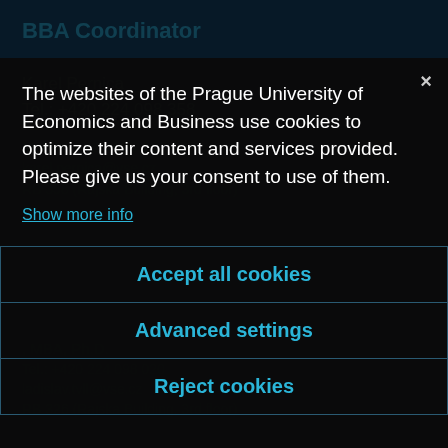BBA Coordinator
Karel Pernica
Tel.: +420 224 098 358
Mobile: +420 605 151 607
karel.pernica@vse.cz
RB 358 (Rajska Building, 3rd floor)
The websites of the Prague University of Economics and Business use cookies to optimize their content and services provided. Please give us your consent to use of them.
Show more info
Accept all cookies
Advanced settings
Reject cookies